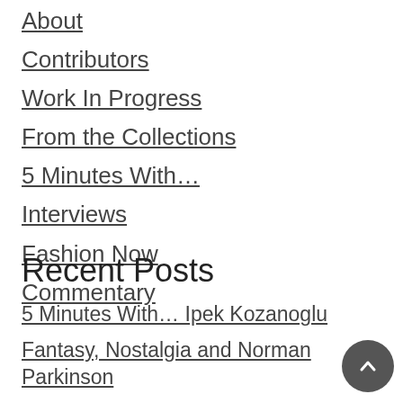About
Contributors
Work In Progress
From the Collections
5 Minutes With…
Interviews
Fashion Now
Commentary
Recent Posts
5 Minutes With… Ipek Kozanoglu
Fantasy, Nostalgia and Norman Parkinson
5 Minutes With…Victoria FitzGerald